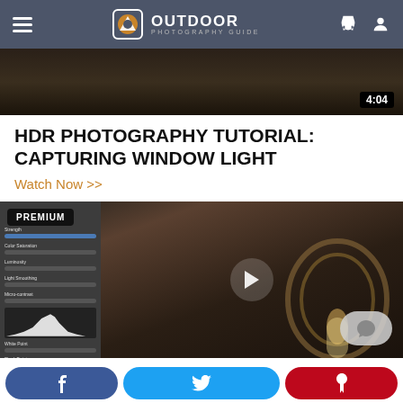Outdoor Photography Guide navigation bar
[Figure (screenshot): Dark video thumbnail showing interior corridor, with timestamp 4:04 in bottom right]
HDR PHOTOGRAPHY TUTORIAL: CAPTURING WINDOW LIGHT
Watch Now >>
[Figure (screenshot): Premium video thumbnail showing Photoshop HDR editing panel on left and a cathedral arch image with glowing doorway on right, with play button in center and chat bubble icon in lower right. PREMIUM badge in top left.]
Facebook share | Twitter share | Pinterest share